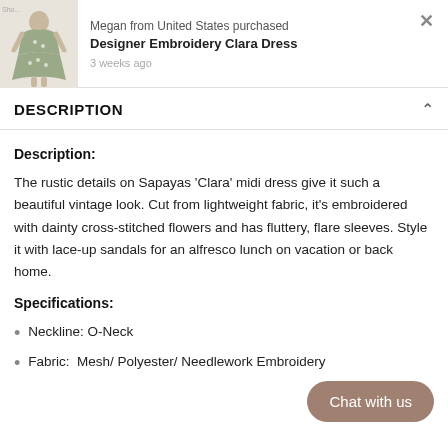[Figure (photo): Notification banner showing a woman in a floral dress with text 'Megan from United States purchased Designer Embroidery Clara Dress - 3 weeks ago' and a close (X) button]
DESCRIPTION
Description:
The rustic details on Sapayas 'Clara' midi dress give it such a beautiful vintage look. Cut from lightweight fabric, it's embroidered with dainty cross-stitched flowers and has fluttery, flare sleeves. Style it with lace-up sandals for an alfresco lunch on vacation or back home.
Specifications:
Neckline: O-Neck
Fabric:  Mesh/ Polyester/ Needlework Embroidery